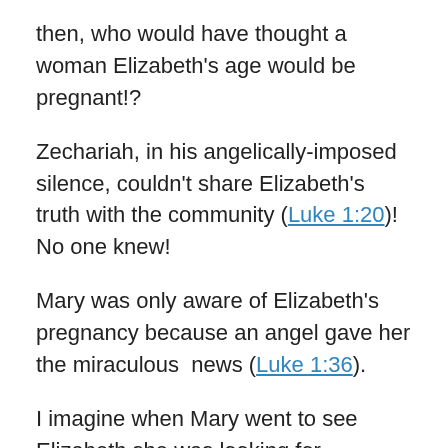then, who would have thought a woman Elizabeth's age would be pregnant!?
Zechariah, in his angelically-imposed silence, couldn't share Elizabeth's truth with the community (Luke 1:20)!  No one knew!
Mary was only aware of Elizabeth's pregnancy because an angel gave her the miraculous  news (Luke 1:36).
I imagine when Mary went to see Elizabeth she was looking for confirmation of the angel's word regarding God's activity in the lives of both women. (Luke 1:39).
I also imagine that Mary stayed with Elizabeth for three months (Luke 1:56) in order to support her cousin during the last trimester of the older woman's